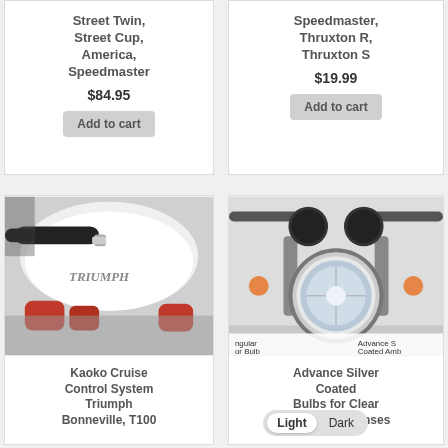Street Twin, Street Cup, America, Speedmaster
$84.95
Add to cart
Speedmaster, Thruxton R, Thruxton S
$19.99
Add to cart
[Figure (photo): Close-up of a Triumph motorcycle handlebar grip and fuel tank with red engine parts visible]
Kaoko Cruise Control System Triumph Bonneville, T100
[Figure (photo): Front view of a motorcycle headlight with dual round gauges on top; labels show 'Regular tor Bulb' and 'Advance S Coated Amb']
Advance Silver Coated Bulbs for Clear and Smoke Lenses